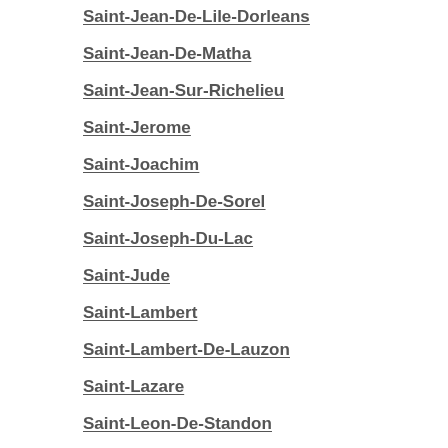Saint-Jean-De-Lile-Dorleans
Saint-Jean-De-Matha
Saint-Jean-Sur-Richelieu
Saint-Jerome
Saint-Joachim
Saint-Joseph-De-Sorel
Saint-Joseph-Du-Lac
Saint-Jude
Saint-Lambert
Saint-Lambert-De-Lauzon
Saint-Lazare
Saint-Leon-De-Standon
Saint-Leonard-Daston
Saint-Liboire
Saint-Liguori
Saint-Lin-Laurentides